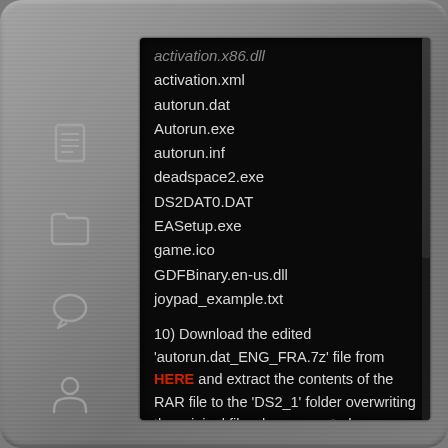[Figure (screenshot): A tablet-style device with brushed metal casing showing a dark screen with file listing and numbered instructions for a game installation guide (Dead Space 2). The screen shows filenames and steps for copying files.]
activation.x86.dll (partially visible, faded)
activation.xml
autorun.dat
Autorun.exe
autorun.inf
deadspace2.exe
DS2DAT0.DAT
EASetup.exe
game.ico
GDFBinary.en-us.dll
joypad_example.txt
10) Download the edited 'autorun.dat_ENG_FRA.7z' file from HERE and extract the contents of the RAR file to the 'DS2_1' folder overwriting the original file when prompted.
11) Copy the following files from the Original 'Dead Space 2' DVD's to the 'DS2_2' folder.
autorun.inf
DS2DAT1.DAT (partially visible)